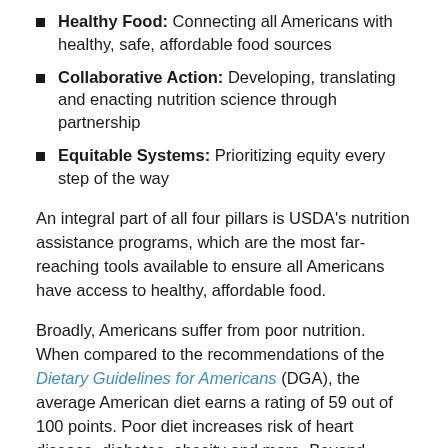Healthy Food: Connecting all Americans with healthy, safe, affordable food sources
Collaborative Action: Developing, translating and enacting nutrition science through partnership
Equitable Systems: Prioritizing equity every step of the way
An integral part of all four pillars is USDA's nutrition assistance programs, which are the most far-reaching tools available to ensure all Americans have access to healthy, affordable food.
Broadly, Americans suffer from poor nutrition. When compared to the recommendations of the Dietary Guidelines for Americans (DGA), the average American diet earns a rating of 59 out of 100 points. Poor diet increases risk of heart disease, diabetes, obesity and more. Beyond